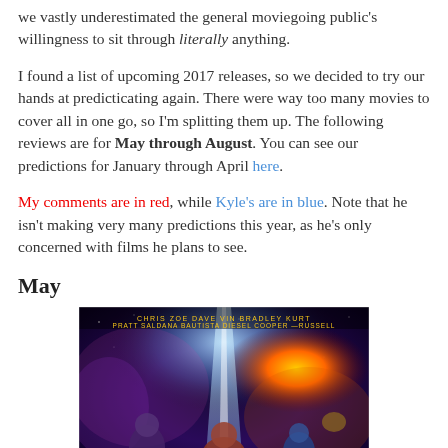we vastly underestimated the general moviegoing public's willingness to sit through literally anything.
I found a list of upcoming 2017 releases, so we decided to try our hands at predicticating again. There were way too many movies to cover all in one go, so I'm splitting them up. The following reviews are for May through August. You can see our predictions for January through April here.
My comments are in red, while Kyle's are in blue. Note that he isn't making very many predictions this year, as he's only concerned with films he plans to see.
May
[Figure (photo): Movie poster for Guardians of the Galaxy Vol. 2, showing characters from the film against a colorful space background with a bright beam of light, cast names at top including Chris Pratt, Zoe Saldana, Dave Bautista, Vin Diesel, Bradley Cooper, Kurt Russell]